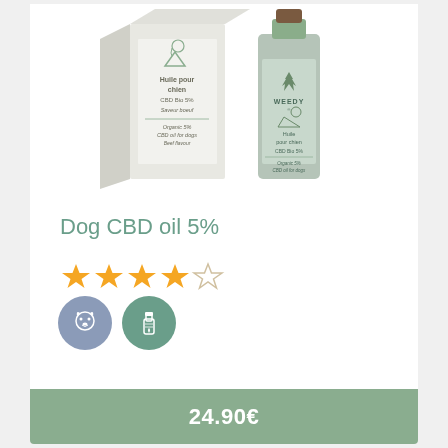[Figure (photo): Product photo showing two WEEDY CBD oil for dogs products: a box labeled 'Huile pour chien CBD Bio 5% Saveur boeuf / Organic 5% CBD oil for dogs Beef flavour' and a dropper bottle labeled 'WEEDY Huile pour chien CBD Bio 5% Organic 5% CBD oil for dogs', both displayed on white background.]
Dog CBD oil 5%
4 out of 5 stars rating
[Figure (illustration): Two circular icons: a blue-grey circle with a dog silhouette, and a teal circle with a dropper/bottle icon]
24.90€